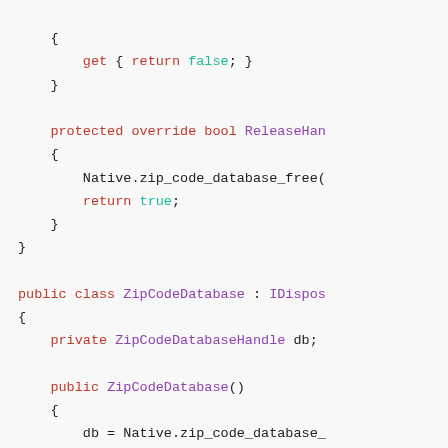Code snippet showing C# class with ReleaseHandle override and ZipCodeDatabase class definition